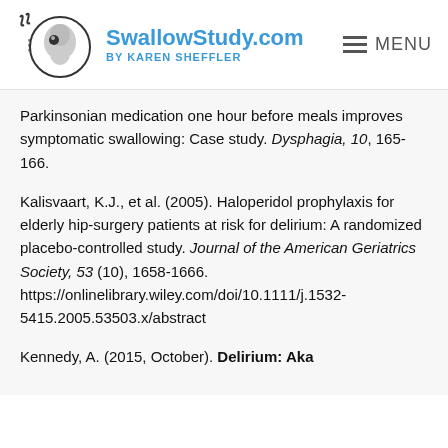[Figure (logo): SwallowStudy.com logo featuring a stylized human head profile in a circle with text SwallowStudy.com by Karen Sheffler]
Parkinsonian medication one hour before meals improves symptomatic swallowing: Case study. Dysphagia, 10, 165-166.
Kalisvaart, K.J., et al. (2005). Haloperidol prophylaxis for elderly hip-surgery patients at risk for delirium: A randomized placebo-controlled study. Journal of the American Geriatrics Society, 53 (10), 1658-1666. https://onlinelibrary.wiley.com/doi/10.1111/j.1532-5415.2005.53503.x/abstract
Kennedy, A. (2015, October). Delirium: Aka